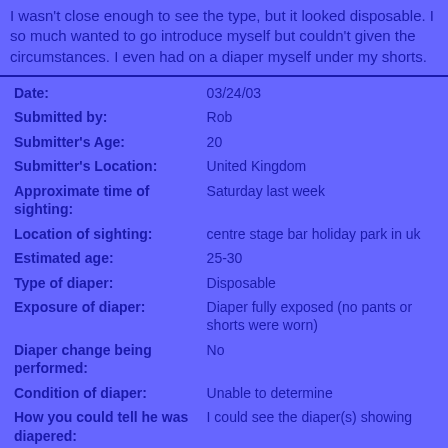I wasn't close enough to see the type, but it looked disposable. I so much wanted to go introduce myself but couldn't given the circumstances. I even had on a diaper myself under my shorts.
| Date: | 03/24/03 |
| Submitted by: | Rob |
| Submitter's Age: | 20 |
| Submitter's Location: | United Kingdom |
| Approximate time of sighting: | Saturday last week |
| Location of sighting: | centre stage bar holiday park in uk |
| Estimated age: | 25-30 |
| Type of diaper: | Disposable |
| Exposure of diaper: | Diaper fully exposed (no pants or shorts were worn) |
| Diaper change being performed: | No |
| Condition of diaper: | Unable to determine |
| How you could tell he was diapered: | I could see the diaper(s) showing |
| Others present: | Male adult |
| Details of sighting: |  |